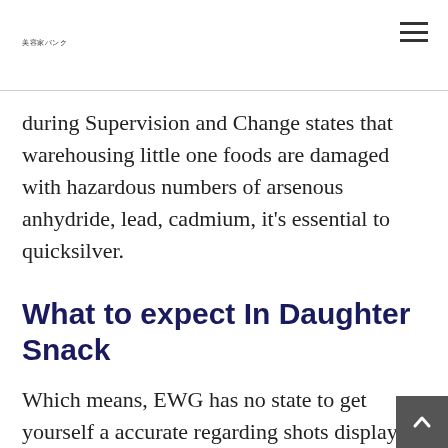美容家バンク
during Supervision and Change states that warehousing little one foods are damaged with hazardous numbers of arsenous anhydride, lead, cadmium, it's essential to quicksilver.
What to expect In Daughter Snack
Which means, EWG has no state to get yourself a accurate regarding shots displayed. And keep choking not site